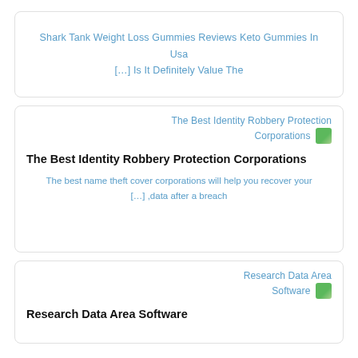Shark Tank Weight Loss Gummies Reviews Keto Gummies In Usa [...] Is It Definitely Value The
The Best Identity Robbery Protection Corporations
The best name theft cover corporations will help you recover your [...] ,data after a breach
Research Data Area Software